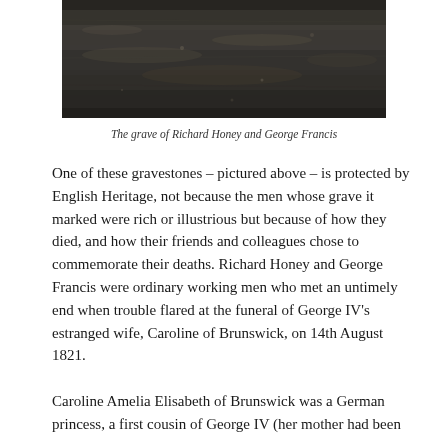[Figure (photo): A dark photograph of a gravestone or ground surface, showing a dark mottled stone or soil surface.]
The grave of Richard Honey and George Francis
One of these gravestones – pictured above – is protected by English Heritage, not because the men whose grave it marked were rich or illustrious but because of how they died, and how their friends and colleagues chose to commemorate their deaths. Richard Honey and George Francis were ordinary working men who met an untimely end when trouble flared at the funeral of George IV's estranged wife, Caroline of Brunswick, on 14th August 1821.
Caroline Amelia Elisabeth of Brunswick was a German princess, a first cousin of George IV (her mother had been